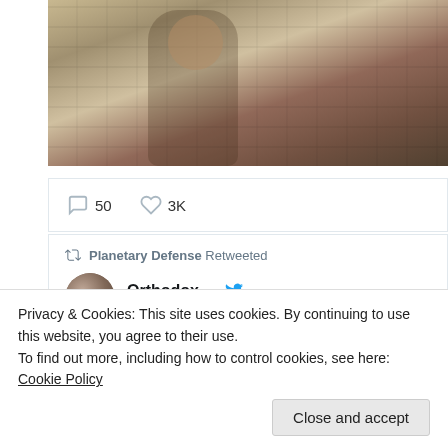[Figure (photo): Partially visible image of a medieval/fantasy character with armor and shield, stone wall background]
50   3K
Planetary Defense Retweeted
Orthodox ... @... · Aug 16
GM.
[Figure (illustration): Map illustration showing China in red with yellow stars and USA flag pattern]
Privacy & Cookies: This site uses cookies. By continuing to use this website, you agree to their use.
To find out more, including how to control cookies, see here: Cookie Policy
Close and accept